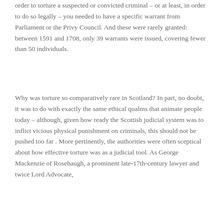order to torture a suspected or convicted criminal – or at least, in order to do so legally – you needed to have a specific warrant from Parliament or the Privy Council. And these were rarely granted: between 1591 and 1708, only 39 warrants were issued, covering fewer than 50 individuals.
Why was torture so comparatively rare in Scotland? In part, no doubt, it was to do with exactly the same ethical qualms that animate people today – although, given how ready the Scottish judicial system was to inflict vicious physical punishment on criminals, this should not be pushed too far . More pertinently, the authorities were often sceptical about how effective torture was as a judicial tool. As George Mackenzie of Rosehaugh, a prominent late-17th-century lawyer and twice Lord Advocate, put it 'Some obstinate persons do